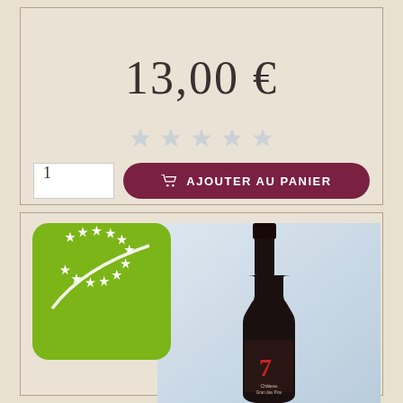13,00 €
[Figure (other): Five empty/unfilled star rating icons in light blue-grey color]
1
AJOUTER AU PANIER
[Figure (logo): EU organic farming bio certification logo — green rounded rectangle with white stars arranged in a leaf/circular pattern]
[Figure (photo): Wine bottle with dark label showing Château text and a red 7 logo, photographed against a light blue-grey gradient background]